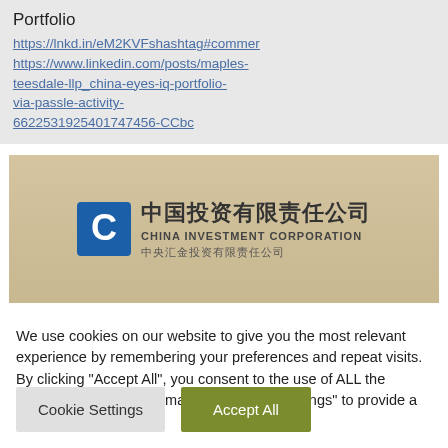Portfolio
https://lnkd.in/eM2KVFshashtag#commercehttps://www.linkedin.com/posts/maples-teesdale-llp_china-eyes-iq-portfolio-via-passle-activity-6622531925401747456-CCbc
[Figure (photo): Photo of China Investment Corporation sign with Chinese characters and CIC logo]
We use cookies on our website to give you the most relevant experience by remembering your preferences and repeat visits. By clicking "Accept All", you consent to the use of ALL the cookies. However, you may visit "Cookie Settings" to provide a controlled consent.
Cookie Settings
Accept All